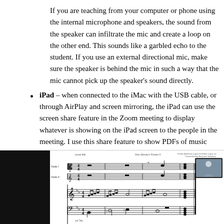If you are teaching from your computer or phone using the internal microphone and speakers, the sound from the speaker can infiltrate the mic and create a loop on the other end. This sounds like a garbled echo to the student. If you use an external directional mic, make sure the speaker is behind the mic in such a way that the mic cannot pick up the speaker's sound directly.
iPad – when connected to the iMac with the USB cable, or through AirPlay and screen mirroring, the iPad can use the screen share feature in the Zoom meeting to display whatever is showing on the iPad screen to the people in the meeting. I use this share feature to show PDFs of music and lesson handouts.
[Figure (screenshot): Screenshot of a Zoom meeting screen sharing a sheet music PDF on an iPad. The left portion shows a black sidebar, and the main area shows musical notation for viola parts. A small video thumbnail of the teacher appears in the upper right corner.]